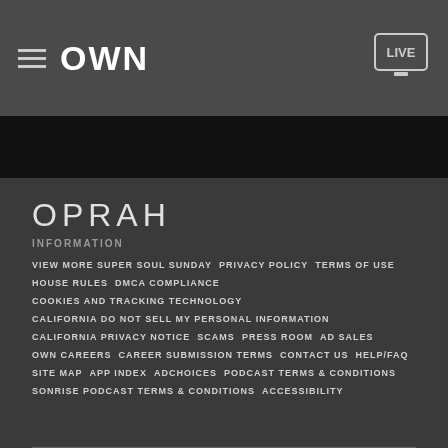OWN LIVE
OPRAH
INFORMATION
VIEW MORE SUPER SOUL SUNDAY
PRIVACY POLICY
TERMS OF USE
HOUSE RULES
DMCA COMPLIANCE
COOKIES AND TRACKING TECHNOLOGY
CALIFORNIA DO NOT SELL MY PERSONAL INFORMATION
CALIFORNIA PRIVACY NOTICE
SCAMS
PRESS ROOM
AD SALES
OWN CAREERS
CAREER SUBMISSION TERMS
CONTACT US
HELP/FAQ
SITE MAP
APP INDEX
ADCHOICES
PODCAST TERMS & CONDITIONS
SONRISE PODCAST TERMS & CONDITIONS
ACCESSIBILITY